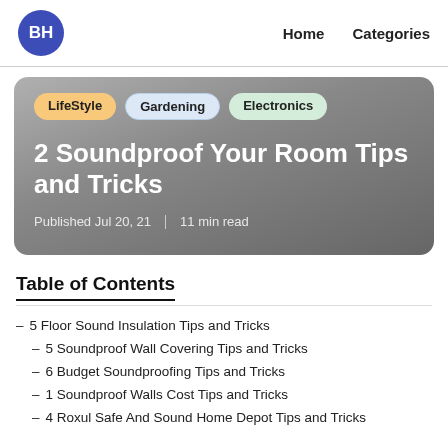BH  Home  Categories
[Figure (other): Hero card with gradient gray background showing category tags (LifeStyle, Gardening, Electronics), article title '2 Soundproof Your Room Tips and Tricks', and metadata 'Published Jul 20, 21 | 11 min read']
Table of Contents
5 Floor Sound Insulation Tips and Tricks
5 Soundproof Wall Covering Tips and Tricks
6 Budget Soundproofing Tips and Tricks
1 Soundproof Walls Cost Tips and Tricks
4 Roxul Safe And Sound Home Depot Tips and Tricks